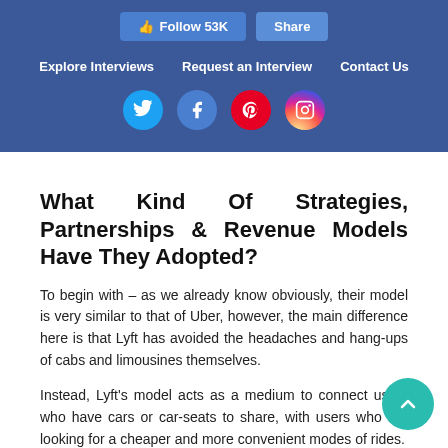Follow 53K  Share  |  Explore Interviews  Request an Interview  Contact Us
What Kind Of Strategies, Partnerships & Revenue Models Have They Adopted?
To begin with – as we already know obviously, their model is very similar to that of Uber, however, the main difference here is that Lyft has avoided the headaches and hang-ups of cabs and limousines themselves.
Instead, Lyft's model acts as a medium to connect users who have cars or car-seats to share, with users who are looking for a cheaper and more convenient modes of rides.